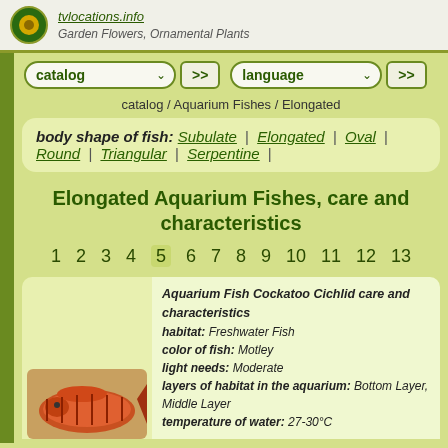tvlocations.info — Garden Flowers, Ornamental Plants
catalog >> | language >>
catalog / Aquarium Fishes / Elongated
body shape of fish: Subulate | Elongated | Oval | Round | Triangular | Serpentine |
Elongated Aquarium Fishes, care and characteristics
1 2 3 4 5 6 7 8 9 10 11 12 13
Aquarium Fish Cockatoo Cichlid care and characteristics
habitat: Freshwater Fish
color of fish: Motley
light needs: Moderate
layers of habitat in the aquarium: Bottom Layer, Middle Layer